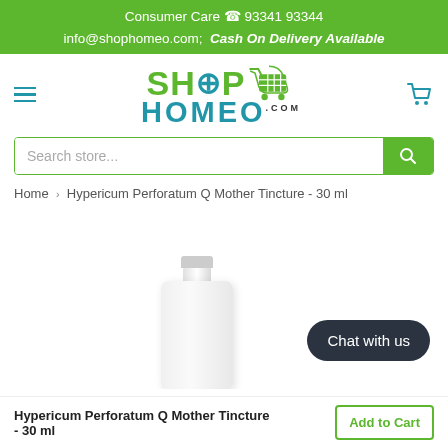Consumer Care ☎ 93341 93344
info@shophomeo.com;  Cash On Delivery Available
[Figure (logo): ShopHomeo.com logo with green shopping cart icon and blue cart icon on right]
[Figure (screenshot): Search store... input box with green search button]
Home › Hypericum Perforatum Q Mother Tincture - 30 ml
[Figure (photo): Hypericum Perforatum Q Mother Tincture 30ml bottle, white/clear bottle with cap, Chat with us button overlay]
Hypericum Perforatum Q Mother Tincture - 30 ml
Add to Cart